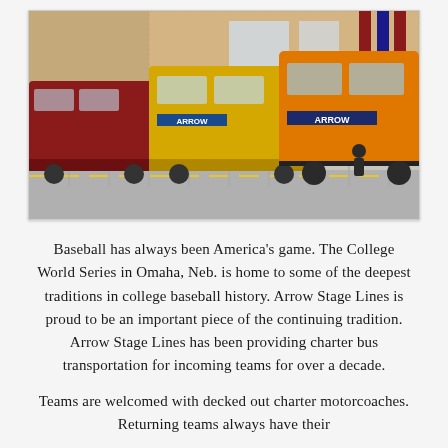[Figure (photo): Outdoor photo showing multiple charter buses (Arrow Stage Lines) parked in front of a large brick building with banners, under a clear sky. Buses are red, yellow, and a large orange/gold bus with Arrow branding visible.]
Baseball has always been America's game. The College World Series in Omaha, Neb. is home to some of the deepest traditions in college baseball history. Arrow Stage Lines is proud to be an important piece of the continuing tradition. Arrow Stage Lines has been providing charter bus transportation for incoming teams for over a decade.
Teams are welcomed with decked out charter motorcoaches. Returning teams always have their